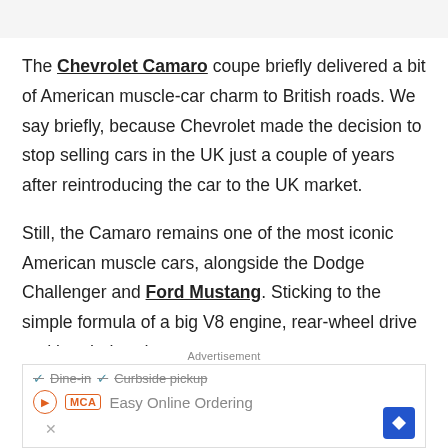The Chevrolet Camaro coupe briefly delivered a bit of American muscle-car charm to British roads. We say briefly, because Chevrolet made the decision to stop selling cars in the UK just a couple of years after reintroducing the car to the UK market.
Still, the Camaro remains one of the most iconic American muscle cars, alongside the Dodge Challenger and Ford Mustang. Sticking to the simple formula of a big V8 engine, rear-wheel drive and brash, head-
Advertisement
[Figure (screenshot): Advertisement banner showing Dine-in and Curbside pickup options with MCA logo, navigation icon, and Easy Online Ordering text]